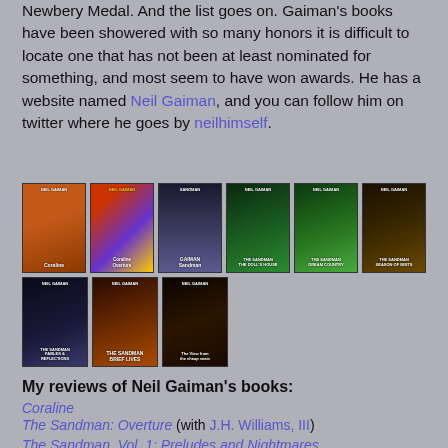Newbery Medal. And the list goes on. Gaiman's books have been showered with so many honors it is difficult to locate one that has not been at least nominated for something, and most seem to have won awards. He has a website named Neil Gaiman, and you can follow him on twitter where he goes by neilhimself.
[Figure (photo): A grid of 9 Neil Gaiman book covers in two rows: top row has Coraline, The Sandman Overture, Sandman, The Sandman: The Doll's House, The Sandman: Dream Country, The Sandman: Season of Mists; bottom row has The Sandman: Fables & Reflections, The Sandman: Brief Lives, and a third book (The View from the Cheap Seats).]
My reviews of Neil Gaiman's books:
Coraline
The Sandman: Overture (with J.H. Williams, III)
The Sandman, Vol. 1: Preludes and Nightmares